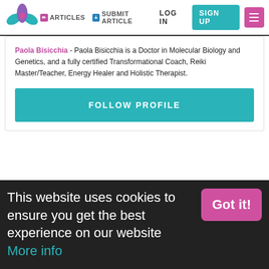ARTICLES | SUBMIT ARTICLE | LOG IN | SIGN UP
Paola Bisicchia - Paola Bisicchia is a Doctor in Molecular Biology and Genetics, and a fully certified Transformational Coach, Reiki Master/Teacher, Energy Healer and Holistic Therapist.
FOLLOW PROFILE
This website uses cookies to ensure you get the best experience on our website More info